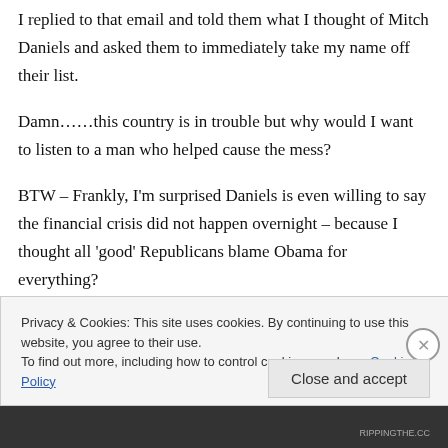I replied to that email and told them what I thought of Mitch Daniels and asked them to immediately take my name off their list.
Damn……this country is in trouble but why would I want to listen to a man who helped cause the mess?
BTW – Frankly, I'm surprised Daniels is even willing to say the financial crisis did not happen overnight – because I thought all 'good' Republicans blame Obama for everything?
Privacy & Cookies: This site uses cookies. By continuing to use this website, you agree to their use.
To find out more, including how to control cookies, see here: Cookie Policy
Close and accept